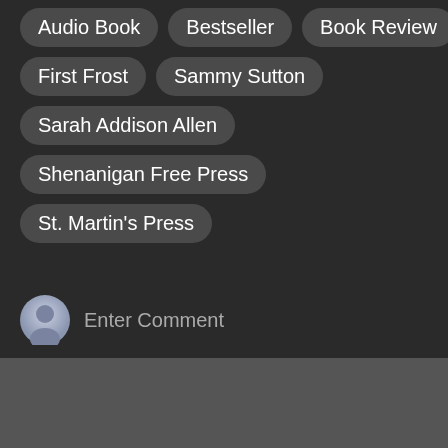Audio Book
Bestseller
Book Review
First Frost
Sammy Sutton
Sarah Addison Allen
Shenanigan Free Press
St. Martin's Press
Enter Comment